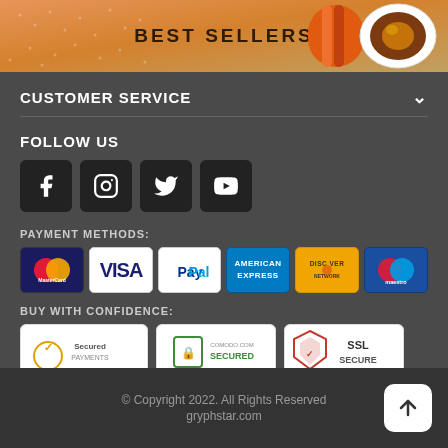[Figure (illustration): Banner with BEST SELLERS text and product images (orange bottle, chocolate)]
CUSTOMER SERVICE
FOLLOW US
[Figure (illustration): Social media icons: Facebook, Instagram, Twitter, YouTube]
PAYMENT METHODS:
[Figure (illustration): Payment method logos: MasterCard, VISA, PayPal, American Express, Discover Network, Maestro]
BUY WITH CONFIDENCE:
[Figure (illustration): Security badges: Secured Payments powered by PayPal, Comodo Secured, SSL Secure]
© Copyright 2022. All Rights Reserved
gryphstar.com